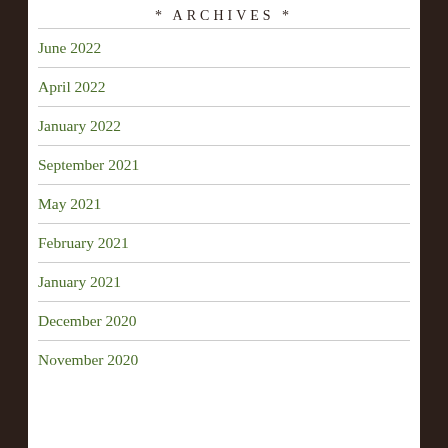* ARCHIVES *
June 2022
April 2022
January 2022
September 2021
May 2021
February 2021
January 2021
December 2020
November 2020